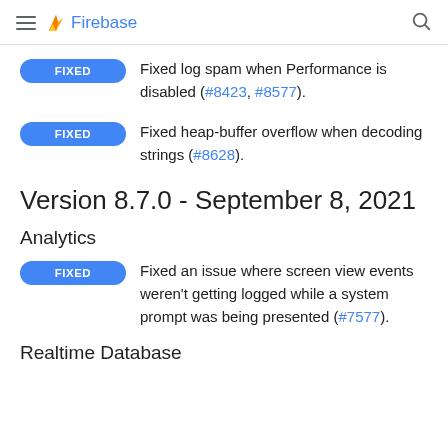Firebase
FIXED Fixed log spam when Performance is disabled (#8423, #8577).
FIXED Fixed heap-buffer overflow when decoding strings (#8628).
Version 8.7.0 - September 8, 2021
Analytics
FIXED Fixed an issue where screen view events weren't getting logged while a system prompt was being presented (#7577).
Realtime Database